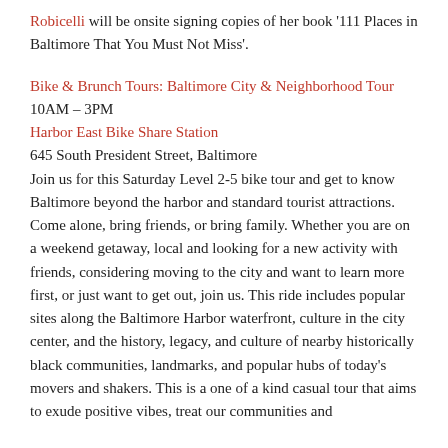Robicelli will be onsite signing copies of her book '111 Places in Baltimore That You Must Not Miss'.
Bike & Brunch Tours: Baltimore City & Neighborhood Tour
10AM – 3PM
Harbor East Bike Share Station
645 South President Street, Baltimore
Join us for this Saturday Level 2-5 bike tour and get to know Baltimore beyond the harbor and standard tourist attractions. Come alone, bring friends, or bring family. Whether you are on a weekend getaway, local and looking for a new activity with friends, considering moving to the city and want to learn more first, or just want to get out, join us. This ride includes popular sites along the Baltimore Harbor waterfront, culture in the city center, and the history, legacy, and culture of nearby historically black communities, landmarks, and popular hubs of today's movers and shakers. This is a one of a kind casual tour that aims to exude positive vibes, treat our communities and